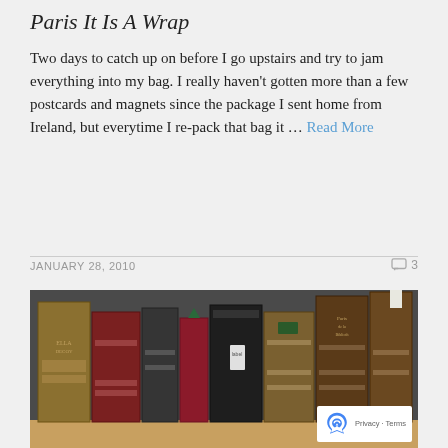Paris It Is A Wrap
Two days to catch up on before I go upstairs and try to jam everything into my bag. I really haven't gotten more than a few postcards and magnets since the package I sent home from Ireland, but everytime I re-pack that bag it … Read More
JANUARY 28, 2010
3
[Figure (photo): Photograph of a row of old, antique books with worn leather spines in various colors (brown, red, black) standing upright on a wooden shelf against a dark background.]